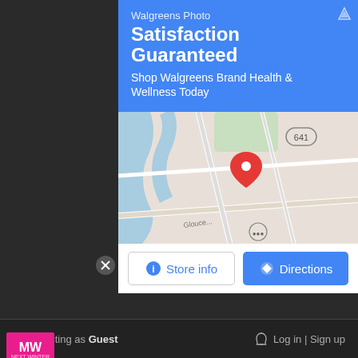Walgreens Photo
Satisfaction Guaranteed
Shop Walgreens Brand Health & Wellness Today
[Figure (map): Google Maps partial view showing a location pin near route 641 and Gloucester road area]
Store info
Directions
[Figure (screenshot): MW (MeatWater/NextWaves) video ad thumbnail showing a young woman in dim lighting with BEST ZOMBIE GAMES text overlay and a play button]
Sponsored
Commenting as Guest  Log in | Sign up